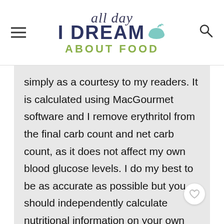all day I DREAM ABOUT FOOD
simply as a courtesy to my readers. It is calculated using MacGourmet software and I remove erythritol from the final carb count and net carb count, as it does not affect my own blood glucose levels. I do my best to be as accurate as possible but you should independently calculate nutritional information on your own before relying on them. I expressly disclaim any and all liability of any kind with respect to